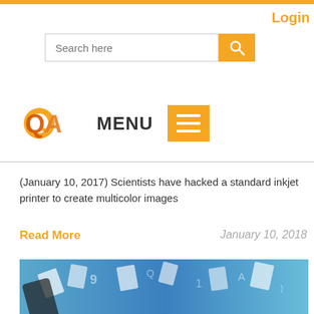Login
[Figure (screenshot): Search bar with orange search button and magnifying glass icon]
[Figure (logo): QA/GP logo in orange with MENU text and orange hamburger menu icon]
(January 10, 2017) Scientists have hacked a standard inkjet printer to create multicolor images
Read More
January 10, 2018
[Figure (photo): Blue background image showing floating documents, papers and a hand holding a smartphone/tablet, digital content concept]